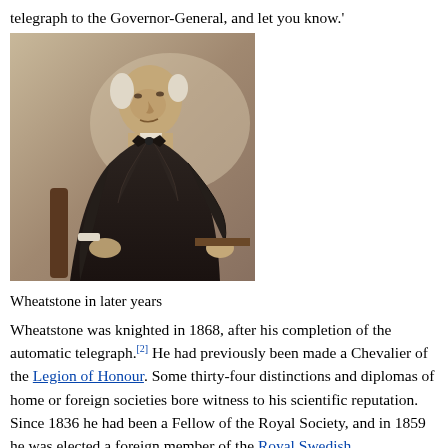telegraph to the Governor-General, and let you know.'
[Figure (photo): Black and white photograph of Wheatstone in later years, seated, wearing a dark suit and bow tie, holding something in his right hand.]
Wheatstone in later years
Wheatstone was knighted in 1868, after his completion of the automatic telegraph.[2] He had previously been made a Chevalier of the Legion of Honour. Some thirty-four distinctions and diplomas of home or foreign societies bore witness to his scientific reputation. Since 1836 he had been a Fellow of the Royal Society, and in 1859 he was elected a foreign member of the Royal Swedish